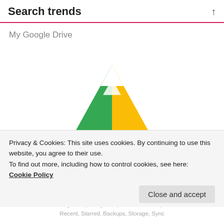Search trends
My Google Drive
[Figure (logo): Google Drive logo — a triangle shape composed of three colored sections: green on the left, yellow/gold on the right, and blue at the bottom center.]
Privacy & Cookies: This site uses cookies. By continuing to use this website, you agree to their use.
To find out more, including how to control cookies, see here:
Cookie Policy
Close and accept
My Drive, Computers, Shared with me, Recent, Starred, Backups, Storage, Sync